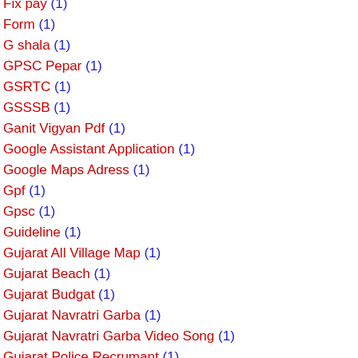Fix pay (1)
Form (1)
G shala (1)
GPSC Pepar (1)
GSRTC (1)
GSSSB (1)
Ganit Vigyan Pdf (1)
Google Assistant Application (1)
Google Maps Adress (1)
Gpf (1)
Gpsc (1)
Guideline (1)
Gujarat All Village Map (1)
Gujarat Beach (1)
Gujarat Budgat (1)
Gujarat Navratri Garba (1)
Gujarat Navratri Garba Video Song (1)
Gujarat Police Recrumant (1)